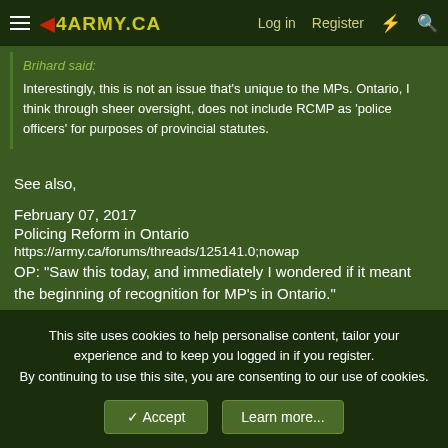4ARMY.CA  Log in  Register
Brihard said:
Interestingly, this is not an issue that's unique to the MPs. Ontario, I think through sheer oversight, does not include RCMP as 'police officers' for purposes of provincial statutes.
See also,
February 07, 2017
Policing Reform in Ontario
https://army.ca/forums/threads/125141.0;nowap
OP: "Saw this today, and immediately I wondered if it meant the beginning of recognition for MP's in Ontario."
This site uses cookies to help personalise content, tailor your experience and to keep you logged in if you register.
By continuing to use this site, you are consenting to our use of cookies.